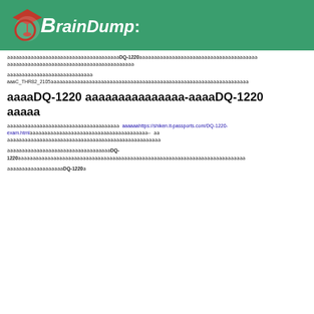BrainDump:
aaaaaaaaaaaaaaaaaaaaaaaaaaaaaaaaaaaaaDQ-1220aaaaaaaaaaaaaaaaaaaaaaaaaaaaaaaaaaaaaaaa aaaaaaaaaaaaaaaaaaaaaaaaaaaaaaaaaaaaaaaaaaa
aaaaaaaaaaaaaaaaaaaaaaaaaaaaa aaaC_THR82_2105aaaaaaaa aaaaaaaaaaaaaaaaaaaaaaaaaaaaaaaaaaaaaaaaaaaaaaaaaaaaaaaaaaaaaaaaaaa
aaaaDQ-1220 aaaaaaaaaaaaaaa-aaaaDQ-1220 aaaaa
aaaaaaaaaaaaaaaaaaaaaaaaaaaaaaaaaaaaaaaa aaaaaahttps://shiken.it-passports.com/DQ-1220-exam.htmlaaaaaaaaaaaaaaaaaaaaaaaaaaaaaaaaaaaaaaaa— aaaaaaaaaaaaaaaaaaaaaaaaaaaaaaaaaaaaaaaaaaaaaaaaaaa
aaaaaaaaaaaaaaaaaaaaaaaaaaaaaaaaaaaaDQ-1220aaaaaaaaaaaaaaaaaaaaaaaaaaaaaaaaaaaaaaaaaaaaaaaaaaaaaaaaaaaaaaaaaaaaaaaaaaaaaaa
aaaaaaaaaaaaaaaaaaDQ-1220a